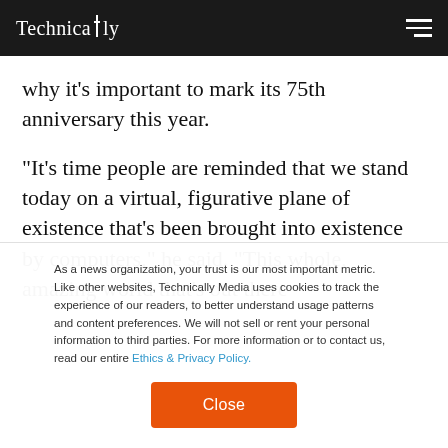Technically
why it’s important to mark its 75th anniversary this year.
“It’s time people are reminded that we stand today on a virtual, figurative plane of existence that’s been brought into existence by computers,” he said. “This whole, amazing world that’s out there
As a news organization, your trust is our most important metric. Like other websites, Technically Media uses cookies to track the experience of our readers, to better understand usage patterns and content preferences. We will not sell or rent your personal information to third parties. For more information or to contact us, read our entire Ethics & Privacy Policy.
Close